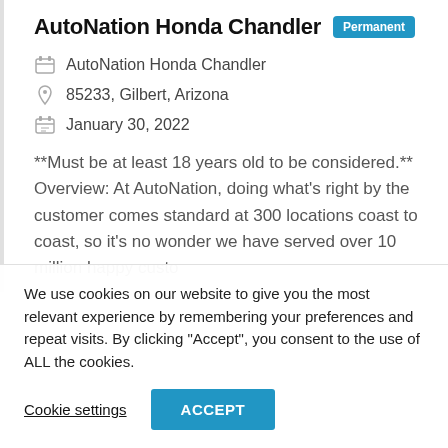AutoNation Honda Chandler
Permanent
AutoNation Honda Chandler
85233, Gilbert, Arizona
January 30, 2022
**Must be at least 18 years old to be considered.** Overview: At AutoNation, doing what’s right by the customer comes standard at 300 locations coast to coast, so it’s no wonder we have served over 10 million happy custo
We use cookies on our website to give you the most relevant experience by remembering your preferences and repeat visits. By clicking “Accept”, you consent to the use of ALL the cookies.
Cookie settings
ACCEPT